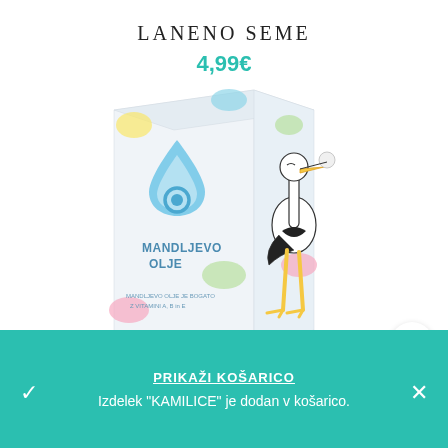LANENO SEME
4,99€
[Figure (photo): Product box labeled 'MANDLJEVO OLJE' (almond oil) with colorful polka dot design and a cartoon stork illustration. The box features a blue water drop logo and text 'MANDLJEVO OLJE JE BOGATO Z VITAMINI A, B in E' and 'olje za masažo'.]
PRIKAŽI KOŠARICO
Izdelek "KAMILICE" je dodan v košarico.